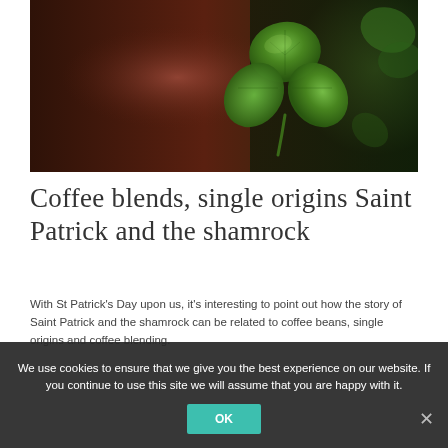[Figure (photo): Close-up photograph of a four-leaf clover / shamrock with blurred dark brown and green background]
Coffee blends, single origins Saint Patrick and the shamrock
With St Patrick's Day upon us, it's interesting to point out how the story of Saint Patrick and the shamrock can be related to coffee beans, single origins and coffee blending.
In case you aren't aware of how the shamrock came to be one of the most recognised symbols of Ireland, it goes back to the fifth century, when Saint Patrick was preaching to the pagan tribes of Ireland. He used the shamrock to explain the mysteries of the Holy Trinity, the Father, the Son and the Holy Spirit, the three gods in one. Apparently the saint took the shamrock...
We use cookies to ensure that we give you the best experience on our website. If you continue to use this site we will assume that you are happy with it.